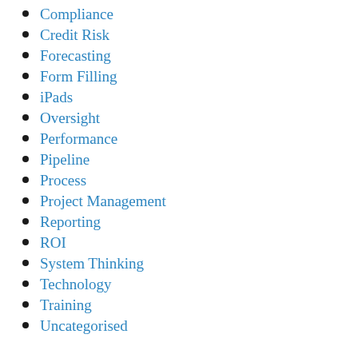Compliance
Credit Risk
Forecasting
Form Filling
iPads
Oversight
Performance
Pipeline
Process
Project Management
Reporting
ROI
System Thinking
Technology
Training
Uncategorised